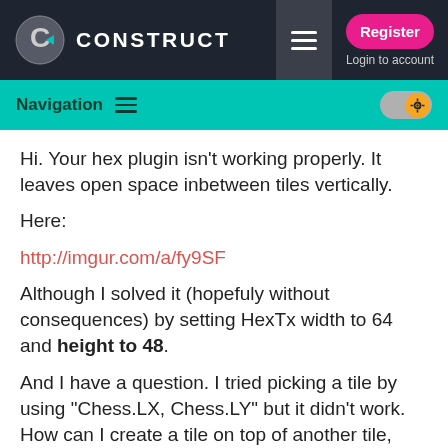CONSTRUCT — Register / Login to account
Navigation
Hi. Your hex plugin isn't working properly. It leaves open space inbetween tiles vertically.
Here:
http://imgur.com/a/fy9SF
Although I solved it (hopefuly without consequences) by setting HexTx width to 64 and height to 48.
And I have a question. I tried picking a tile by using "Chess.LX, Chess.LY" but it didn't work. How can I create a tile on top of another tile, where my chess object is currently standing?